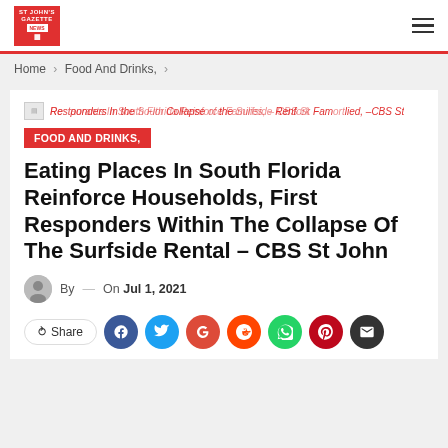St John's Gazette
Home > Food And Drinks,  >
Restaurants In South Florida Reinforce Families, – CBS St John
FOOD AND DRINKS,
Eating Places In South Florida Reinforce Households, First Responders Within The Collapse Of The Surfside Rental – CBS St John
By  —  On Jul 1, 2021
Share